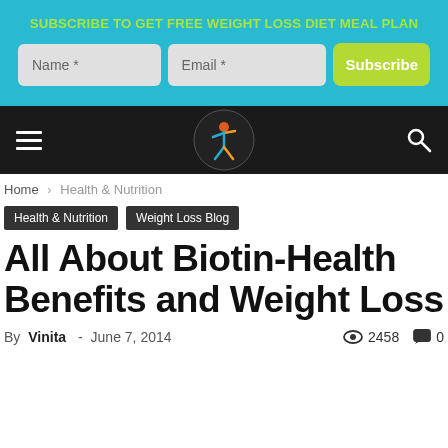SUBSCRIBE TO GET FREE WEIGHT LOSS DIET MEAL PLAN
[Figure (screenshot): Web form with Name and Email input fields and a Subscribe button on a teal background]
[Figure (logo): Website logo with colorful figure icon on dark navigation bar with hamburger menu and search icon]
Home › Health & Nutrition
Health & Nutrition   Weight Loss Blog
All About Biotin-Health Benefits and Weight Loss
By Vinita - June 7, 2014   2458   0